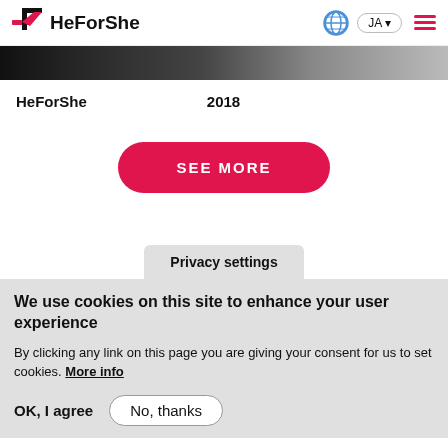HeForShe — JA — [globe icon] [hamburger menu]
[Figure (photo): Dark banner image strip — partial photo of a crowd or event scene in black and grey tones]
HeForShe　　　　　　　　2018
[Figure (other): SEE MORE button — pink rounded pill button with white text]
Privacy settings
We use cookies on this site to enhance your user experience
By clicking any link on this page you are giving your consent for us to set cookies. More info
OK, I agree   No, thanks